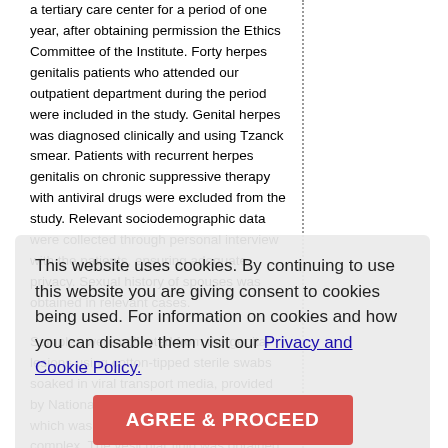a tertiary care center for a period of one year, after obtaining permission the Ethics Committee of the Institute. Forty herpes genitalis patients who attended our outpatient department during the period were included in the study. Genital herpes was diagnosed clinically and using Tzanck smear. Patients with recurrent herpes genitalis on chronic suppressive therapy with antiviral drugs were excluded from the study. Relevant sociodemographic data were collected through personal interview with the patients, ensuring adequate privacy. Sexual history of spouses was obtained in relevant cases. Samples were collected from the genital lesions using cotton-tipped sterile swabs soaked in viral transport media, provided by National Institute of Virology (NIV) unit, which was situated in our hospital building complex. The vesicular fluid was obtained after rupturing the vesicle with a sterile needle. If there were no vesicles swabs were obtained from the base of erosions/ulcers. Swabs were immediately
This website uses cookies. By continuing to use this website you are giving consent to cookies being used. For information on cookies and how you can disable them visit our Privacy and Cookie Policy.
AGREE & PROCEED